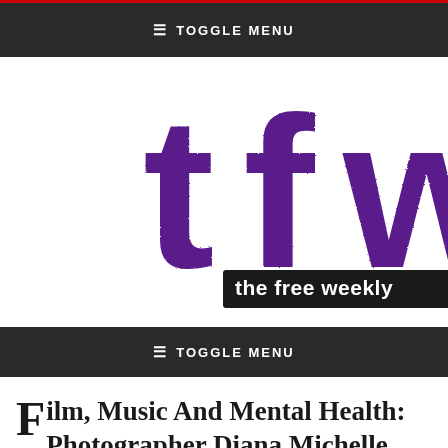≡ TOGGLE MENU
[Figure (logo): tfw - the free weekly logo in purple grunge style text]
≡ TOGGLE MENU
Film, Music And Mental Health: Photographer Diana Michelle reveals project